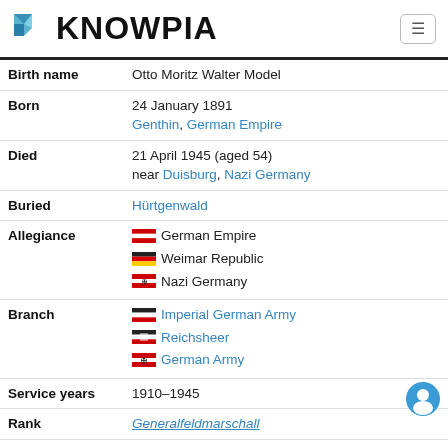KNOWPIA
| Field | Value |
| --- | --- |
| Birth name | Otto Moritz Walter Model |
| Born | 24 January 1891
Genthin, German Empire |
| Died | 21 April 1945 (aged 54)
near Duisburg, Nazi Germany |
| Buried | Hürtgenwald |
| Allegiance | German Empire
Weimar Republic
Nazi Germany |
| Branch | Imperial German Army
Reichsheer
German Army |
| Service years | 1910–1945 |
| Rank | Generalfeldmarschall |
| Commands | 3rd Panzer Division |